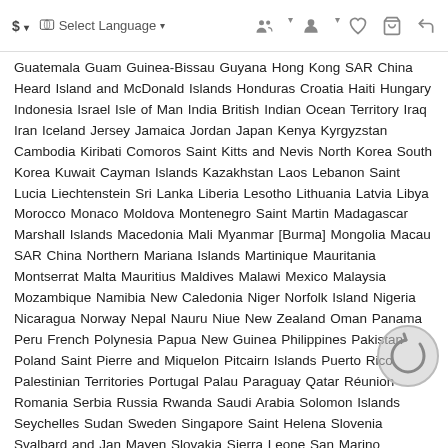$ ▾  Select Language ▾  [icons: group, user, heart, cart, share]
Guatemala Guam Guinea-Bissau Guyana Hong Kong SAR China Heard Island and McDonald Islands Honduras Croatia Haiti Hungary Indonesia Israel Isle of Man India British Indian Ocean Territory Iraq Iran Iceland Jersey Jamaica Jordan Japan Kenya Kyrgyzstan Cambodia Kiribati Comoros Saint Kitts and Nevis North Korea South Korea Kuwait Cayman Islands Kazakhstan Laos Lebanon Saint Lucia Liechtenstein Sri Lanka Liberia Lesotho Lithuania Latvia Libya Morocco Monaco Moldova Montenegro Saint Martin Madagascar Marshall Islands Macedonia Mali Myanmar [Burma] Mongolia Macau SAR China Northern Mariana Islands Martinique Mauritania Montserrat Malta Mauritius Maldives Malawi Mexico Malaysia Mozambique Namibia New Caledonia Niger Norfolk Island Nigeria Nicaragua Norway Nepal Nauru Niue New Zealand Oman Panama Peru French Polynesia Papua New Guinea Philippines Pakistan Poland Saint Pierre and Miquelon Pitcairn Islands Puerto Rico Palestinian Territories Portugal Palau Paraguay Qatar Réunion Romania Serbia Russia Rwanda Saudi Arabia Solomon Islands Seychelles Sudan Sweden Singapore Saint Helena Slovenia Svalbard and Jan Mayen Slovakia Sierra Leone San Marino Senegal Somalia Suriname São Tomé and Príncipe El Salvador Syria Swaziland Turks and Caicos Islands Chad French Southern Territories Togo Thailand Tajikistan Tokelau Timor-Leste Turkmenistan Tunisia Tonga Turkey Trinidad and Tobago Tuvalu Taiwan Tanzania